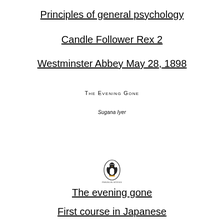Principles of general psychology
Candle Follower Rex 2
Westminster Abbey May 28, 1898
The Evening Gone
Sugana Iyer
[Figure (logo): Penguin Books logo — small penguin in oval with PENGUIN BOOKS text below]
The evening gone
First course in Japanese